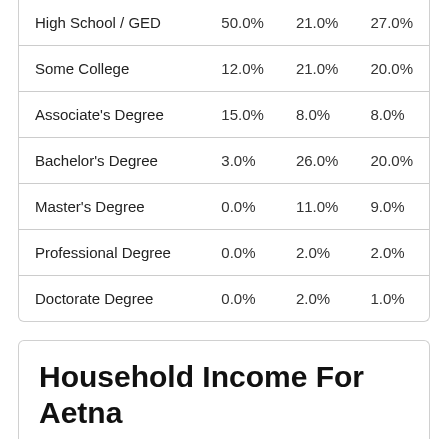|  |  |  |  |
| --- | --- | --- | --- |
| High School / GED | 50.0% | 21.0% | 27.0% |
| Some College | 12.0% | 21.0% | 20.0% |
| Associate's Degree | 15.0% | 8.0% | 8.0% |
| Bachelor's Degree | 3.0% | 26.0% | 20.0% |
| Master's Degree | 0.0% | 11.0% | 9.0% |
| Professional Degree | 0.0% | 2.0% | 2.0% |
| Doctorate Degree | 0.0% | 2.0% | 1.0% |
Household Income For Aetna